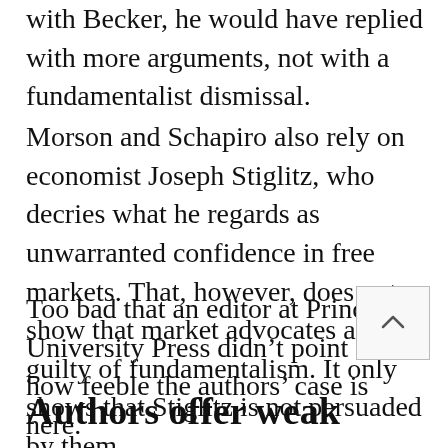with Becker, he would have replied with more arguments, not with a fundamentalist dismissal.
Morson and Schapiro also rely on economist Joseph Stiglitz, who decries what he regards as unwarranted confidence in free markets. That, however, does not show that market advocates are guilty of fundamentalism. It only shows that Stiglitz is not persuaded by them.
Too bad that an editor at Princeton University Press didn't point out how feeble the authors' case is here.
Authors offer weak